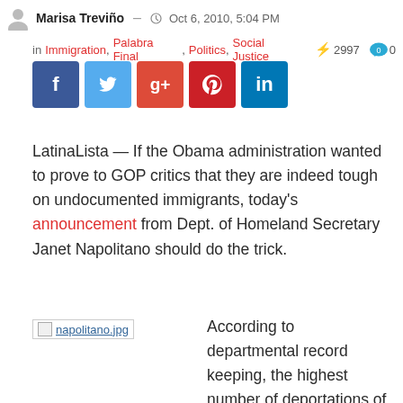Marisa Treviño — Oct 6, 2010, 5:04 PM
in Immigration, Palabra Final, Politics, Social Justice  ⚡2997  💬0
[Figure (infographic): Social media share buttons: Facebook, Twitter, Google+, Pinterest, LinkedIn]
LatinaLista — If the Obama administration wanted to prove to GOP critics that they are indeed tough on undocumented immigrants, today's announcement from Dept. of Homeland Secretary Janet Napolitano should do the trick.
[Figure (photo): Broken image placeholder labeled napolitano.jpg]
According to departmental record keeping, the highest number of deportations of undocumented